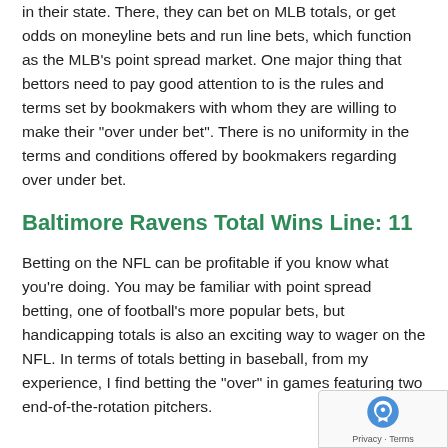in their state. There, they can bet on MLB totals, or get odds on moneyline bets and run line bets, which function as the MLB's point spread market. One major thing that bettors need to pay good attention to is the rules and terms set by bookmakers with whom they are willing to make their "over under bet". There is no uniformity in the terms and conditions offered by bookmakers regarding over under bet.
Baltimore Ravens Total Wins Line: 11
Betting on the NFL can be profitable if you know what you're doing. You may be familiar with point spread betting, one of football's more popular bets, but handicapping totals is also an exciting way to wager on the NFL. In terms of totals betting in baseball, from my experience, I find betting the "over" in games featuring two end-of-the-rotation pitchers.